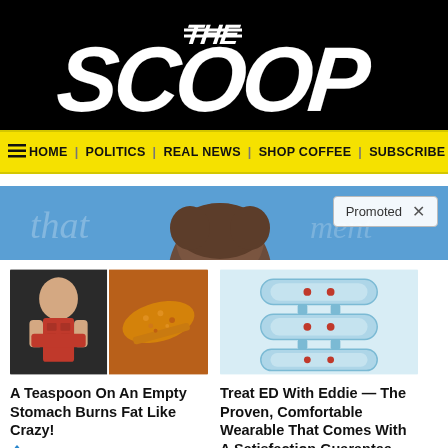The Scoop
HOME | POLITICS | REAL NEWS | SHOP COFFEE | SUBSCRIBE
[Figure (photo): Promoted banner with blue background showing top of a person's head with brown hair and a 'Promoted X' label overlay]
[Figure (photo): Left ad card: fitness woman and spice on a spoon]
A Teaspoon On An Empty Stomach Burns Fat Like Crazy!
🔥 124,326
[Figure (photo): Right ad card: light blue wearable device rings]
Treat ED With Eddie — The Proven, Comfortable Wearable That Comes With A Satisfaction Guarantee
🔥 158,587